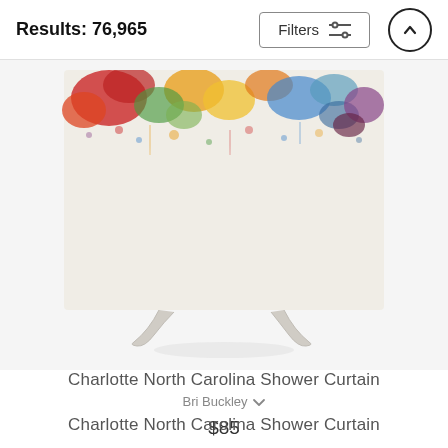Results: 76,965
[Figure (photo): Product image of Charlotte North Carolina Shower Curtain on a display stand. The shower curtain is cream/white with colorful abstract watercolor-style art along the top portion featuring reds, blues, greens, and yellows. The curtain is shown on a white decorative stand.]
Charlotte North Carolina Shower Curtain
Bri Buckley
$85
Charlotte North Carolina Shower Curtain
Bri Buckley